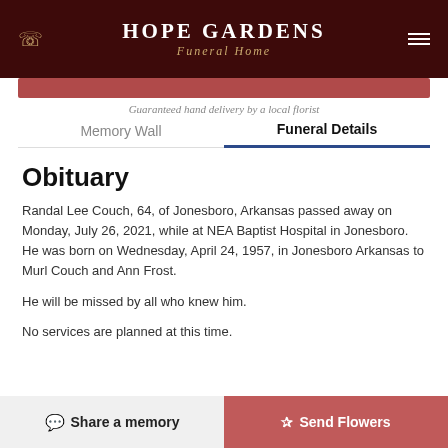HOPE GARDENS Funeral Home
Guaranteed hand delivery by a local florist
Memory Wall	Funeral Details
Obituary
Randal Lee Couch, 64, of Jonesboro, Arkansas passed away on Monday, July 26, 2021, while at NEA Baptist Hospital in Jonesboro. He was born on Wednesday, April 24, 1957, in Jonesboro Arkansas to Murl Couch and Ann Frost.
He will be missed by all who knew him.
No services are planned at this time.
Share a memory | Send Flowers